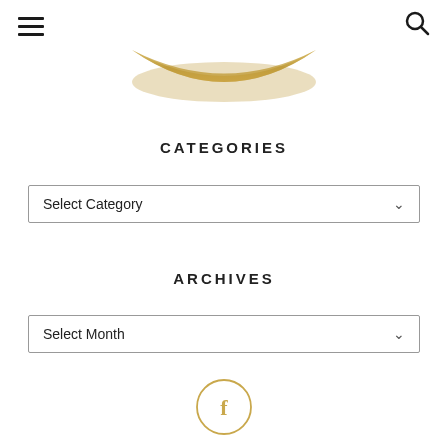[Figure (other): Hamburger menu icon (three horizontal lines) in top left corner]
[Figure (other): Search (magnifying glass) icon in top right corner]
[Figure (other): Gold decorative arc/curve at the top center of the page]
CATEGORIES
[Figure (other): Select Category dropdown widget with border and chevron arrow]
ARCHIVES
[Figure (other): Select Month dropdown widget with border and chevron arrow]
[Figure (other): Facebook social media icon — letter f inside a gold circle outline]